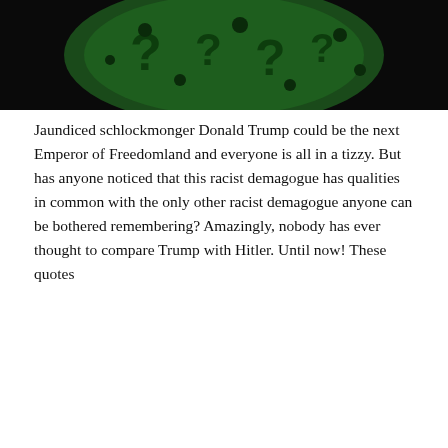[Figure (photo): Dark image showing green costume with question marks, likely the Riddler character]
Jaundiced schlockmonger Donald Trump could be the next Emperor of Freedomland and everyone is all in a tizzy. But has anyone noticed that this racist demagogue has qualities in common with the only other racist demagogue anyone can be bothered remembering? Amazingly, nobody has ever thought to compare Trump with Hitler. Until now! These quotes
Continue reading. →
solomonfaust   22nd June 2016
Australian Politics, Fascism, Politics, Satire, Stupid
Australian politics, Donald Trump, Election, Fascism, Fun, Hitler, Politics, Quiz, Satire, The Riddler, Tony Abbott, Trump, Yay
1 Comment